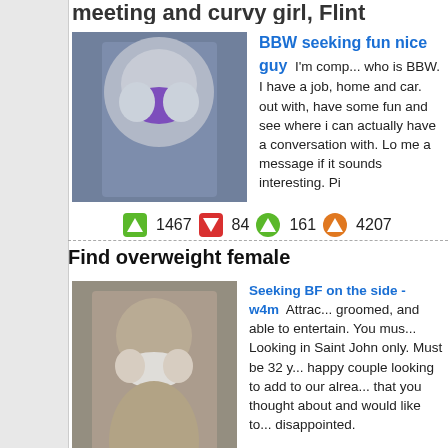meeting and curvy girl, Flint
[Figure (photo): Woman in purple bikini top, listing thumbnail]
BBW seeking fun nice guy  I'm comp... who is BBW. I have a job, home and car. out with, have some fun and see where i can actually have a conversation with. Lo me a message if it sounds interesting. Pi
1467  84  161  4207
Find overweight female
[Figure (photo): Woman in white bikini crouching, listing thumbnail]
Seeking BF on the side - w4m  Attrac... groomed, and able to entertain. You mus... Looking in Saint John only. Must be 32 y... happy couple looking to add to our alrea... that you thought about and would like to... disappointed.
255  55  78  4638
Local big and beautiful lady, Flint